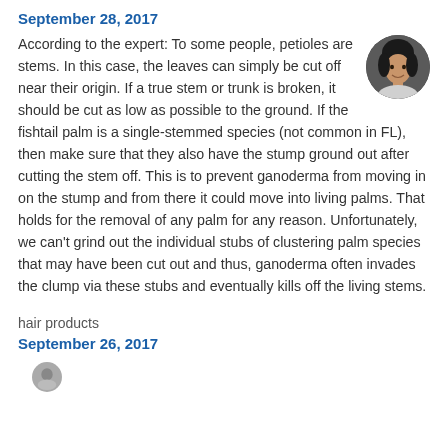September 28, 2017
According to the expert: To some people, petioles are stems. In this case, the leaves can simply be cut off near their origin. If a true stem or trunk is broken, it should be cut as low as possible to the ground. If the fishtail palm is a single-stemmed species (not common in FL), then make sure that they also have the stump ground out after cutting the stem off. This is to prevent ganoderma from moving in on the stump and from there it could move into living palms. That holds for the removal of any palm for any reason. Unfortunately, we can't grind out the individual stubs of clustering palm species that may have been cut out and thus, ganoderma often invades the clump via these stubs and eventually kills off the living stems.
hair products
September 26, 2017
[Figure (photo): Circular avatar photo of a person, partially visible at bottom of page]